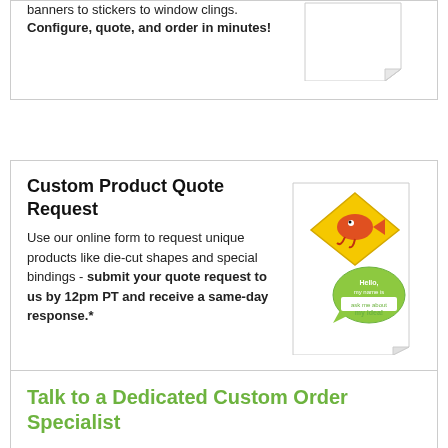banners to stickers to window clings. Configure, quote, and order in minutes!
[Figure (illustration): Curled page corner / document icon]
Custom Product Quote Request
Use our online form to request unique products like die-cut shapes and special bindings - submit your quote request to us by 12pm PT and receive a same-day response.*
[Figure (illustration): Hello my name is sticker tag with fish illustration and speech bubble saying 'ask me about my idea!']
Talk to a Dedicated Custom Order Specialist
Use our Live Chat